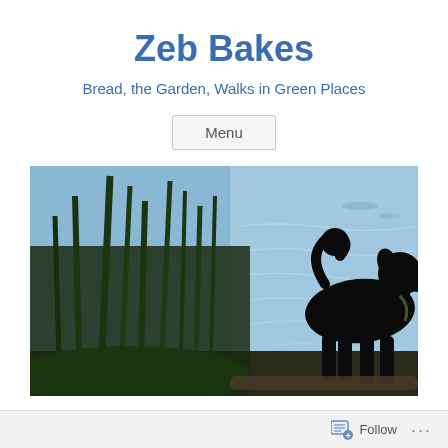Zeb Bakes
Bread, the Garden, Walks in Green Places
Menu
[Figure (photo): Silhouette of a poodle dog standing near tall grass and a lake with blue rippled water in the background]
TAG ARCHIVES: CORTAS
Follow ...